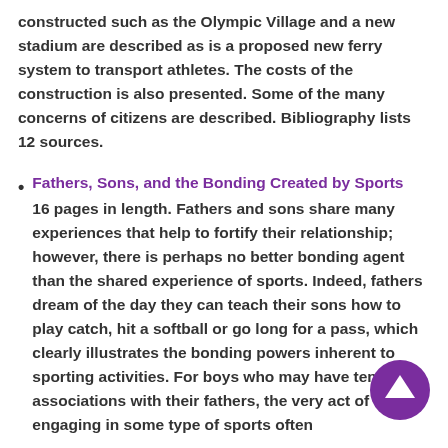constructed such as the Olympic Village and a new stadium are described as is a proposed new ferry system to transport athletes. The costs of the construction is also presented. Some of the many concerns of citizens are described. Bibliography lists 12 sources.
Fathers, Sons, and the Bonding Created by Sports
16 pages in length. Fathers and sons share many experiences that help to fortify their relationship; however, there is perhaps no better bonding agent than the shared experience of sports. Indeed, fathers dream of the day they can teach their sons how to play catch, hit a softball or go long for a pass, which clearly illustrates the bonding powers inherent to sporting activities. For boys who may have tenuous associations with their fathers, the very act of engaging in some type of sports often